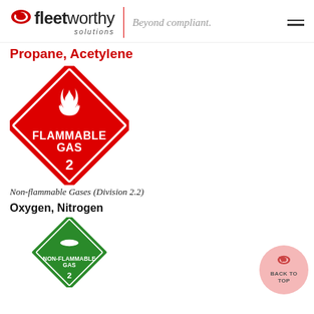fleetworthy solutions | Beyond compliant.
Propane, Acetylene
[Figure (illustration): Red diamond-shaped FLAMMABLE GAS placard with flame icon and number 2]
Non-flammable Gases (Division 2.2)
Oxygen, Nitrogen
[Figure (illustration): Green diamond-shaped NON-FLAMMABLE GAS placard with cylinder icon and number 2]